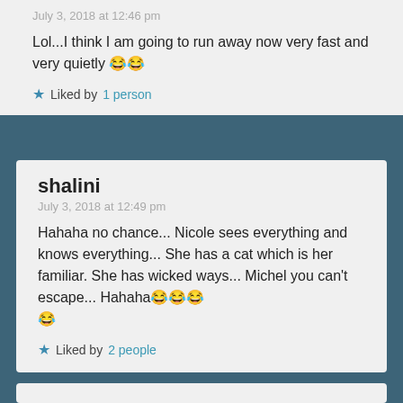July 3, 2018 at 12:46 pm
Lol...I think I am going to run away now very fast and very quietly 😂😂
Liked by 1 person
shalini
July 3, 2018 at 12:49 pm
Hahaha no chance... Nicole sees everything and knows everything... She has a cat which is her familiar. She has wicked ways... Michel you can't escape... Hahaha😂😂😂😂
Liked by 2 people